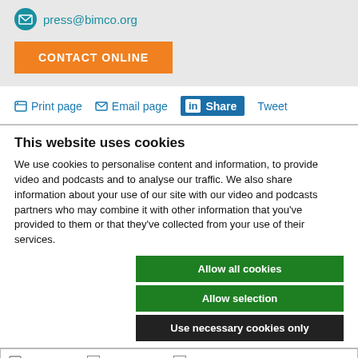press@bimco.org
CONTACT ONLINE
Print page   Email page   Share   Tweet
This website uses cookies
We use cookies to personalise content and information, to provide video and podcasts and to analyse our traffic. We also share information about your use of our site with our video and podcasts partners who may combine it with other information that you've provided to them or that they've collected from your use of their services.
Allow all cookies
Allow selection
Use necessary cookies only
Necessary   Preferences   Statistics   Marketing   Show details